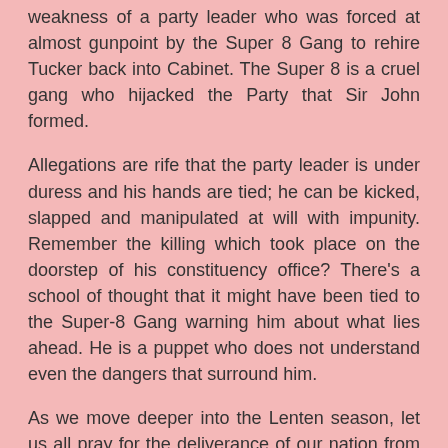weakness of a party leader who was forced at almost gunpoint by the Super 8 Gang to rehire Tucker back into Cabinet. The Super 8 is a cruel gang who hijacked the Party that Sir John formed.
Allegations are rife that the party leader is under duress and his hands are tied; he can be kicked, slapped and manipulated at will with impunity. Remember the killing which took place on the doorstep of his constituency office? There’s a school of thought that it might have been tied to the Super-8 Gang warning him about what lies ahead. He is a puppet who does not understand even the dangers that surround him.
As we move deeper into the Lenten season, let us all pray for the deliverance of our nation from the grips of evil! Choiseul, St. Lucia, let us do what we do best! Let us pray for our nation!
Let us pray for the Hurricane victims who have no